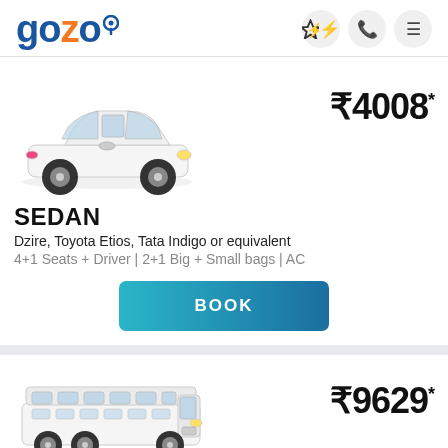gozo
[Figure (photo): White Toyota Etios sedan car]
₹4008*
SEDAN
Dzire, Toyota Etios, Tata Indigo or equivalent
4+1 Seats + Driver | 2+1 Big + Small bags | AC
BOOK
[Figure (photo): White Tempo Traveller van]
₹9629*